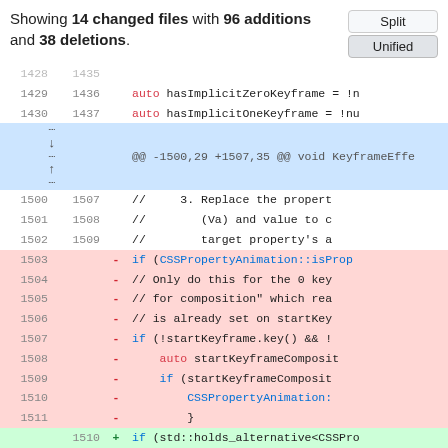Showing 14 changed files with 96 additions and 38 deletions.
| old | new | sign | code |
| --- | --- | --- | --- |
| 1428 | 1435 |  |  |
| 1429 | 1436 |  | auto hasImplicitZeroKeyframe = !n |
| 1430 | 1437 |  | auto hasImplicitOneKeyframe = !nu |
|  |  |  | @@ -1500,29 +1507,35 @@ void KeyframeEffe |
| 1500 | 1507 |  | //     3. Replace the propert |
| 1501 | 1508 |  | //        (Va) and value to c |
| 1502 | 1509 |  | //        target property's a |
| 1503 |  | - | if (CSSPropertyAnimation::isProp |
| 1504 |  | - | // Only do this for the 0 key |
| 1505 |  | - | // for composition" which rea |
| 1506 |  | - | // is already set on startKey |
| 1507 |  | - | if (!startKeyframe.key() && ! |
| 1508 |  | - | auto startKeyframeComposit |
| 1509 |  | - | if (startKeyframeComposit |
| 1510 |  | - | CSSPropertyAnimation: |
| 1511 |  | - | } |
|  | 1510 | + | if (std::holds_alternative<CSSPro |
|  | 1511 |  |  |